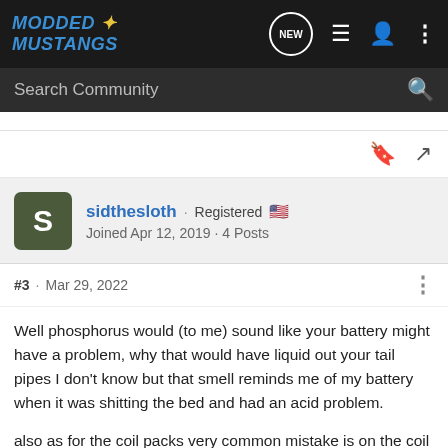MODDED MUSTANGS
Search Community
sidthesloth · Registered
Joined Apr 12, 2019 · 4 Posts
#3 · Mar 29, 2022
Well phosphorus would (to me) sound like your battery might have a problem, why that would have liquid out your tail pipes I don't know but that smell reminds me of my battery when it was shitting the bed and had an acid problem.
also as for the coil packs very common mistake is on the coil packs one of the 4,5,6 wires are swapped on the pack and